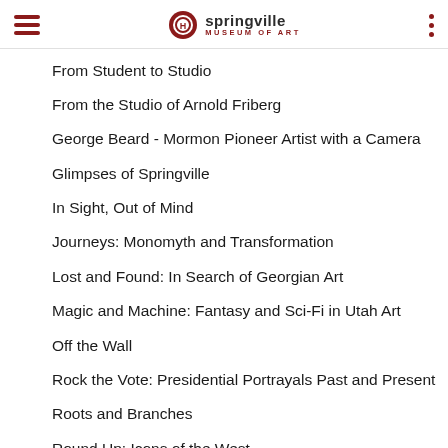Springville Museum of Art
From Student to Studio
From the Studio of Arnold Friberg
George Beard - Mormon Pioneer Artist with a Camera
Glimpses of Springville
In Sight, Out of Mind
Journeys: Monomyth and Transformation
Lost and Found: In Search of Georgian Art
Magic and Machine: Fantasy and Sci-Fi in Utah Art
Off the Wall
Rock the Vote: Presidential Portrayals Past and Present
Roots and Branches
Round Up: Icons of the West
Russian Stories, Soviet Ideals
Sacred Spaces: Archetypes and Symbols
Sanctuaries of Mind
SELF: Explorations of Identity